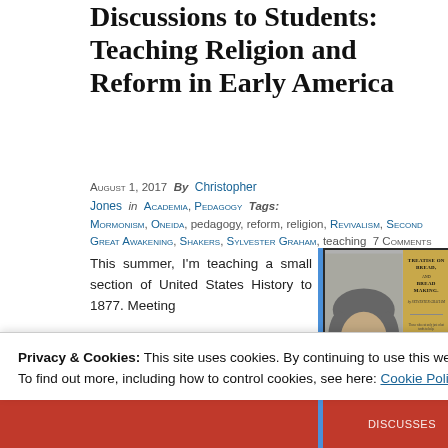Discussions to Students: Teaching Religion and Reform in Early America
August 1, 2017  By  Christopher Jones  in  Academia, Pedagogy  Tags:  Mormonism, Oneida, pedagogy, reform, religion, Revivalism, Second Great Awakening, Shakers, Sylvester Graham, teaching  7 Comments
This summer, I’m teaching a small section of United States History to 1877. Meeting
[Figure (photo): Portrait of a 19th-century man (Sylvester Graham) alongside a book cover titled 'Treatise on Bread and Bread Making']
Privacy & Cookies: This site uses cookies. By continuing to use this website, you agree to their use.
To find out more, including how to control cookies, see here: Cookie Policy